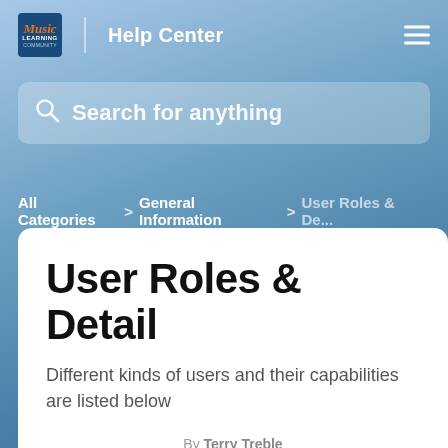Music Learning Community | Help Center
[Figure (screenshot): Search bar with placeholder text 'Search for anything']
All Categories > General Information > User Roles & De...
User Roles & Detail
Different kinds of users and their capabilities are listed below
By Terry Treble
November 28, 2020